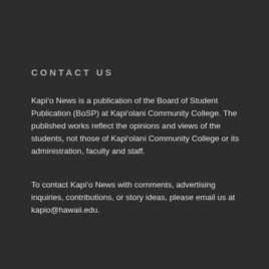CONTACT US
Kapi'o News is a publication of the Board of Student Publication (BoSP) at Kapi'olani Community College. The published works reflect the opinions and views of the students, not those of Kapi'olani Community College or its administration, faculty and staff.
To contact Kapi'o News with comments, advertising inquiries, contributions, or story ideas, please email us at kapio@hawaii.edu.